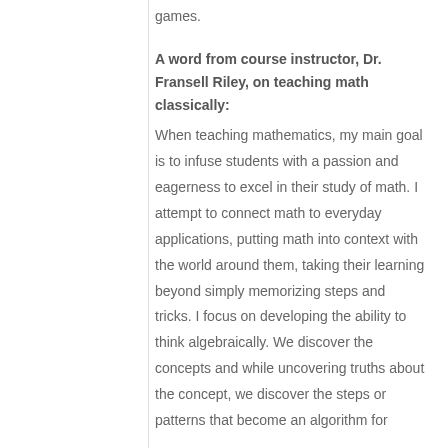games.
A word from course instructor, Dr. Fransell Riley, on teaching math classically:
When teaching mathematics, my main goal is to infuse students with a passion and eagerness to excel in their study of math. I attempt to connect math to everyday applications, putting math into context with the world around them, taking their learning beyond simply memorizing steps and tricks. I focus on developing the ability to think algebraically. We discover the concepts and while uncovering truths about the concept, we discover the steps or patterns that become an algorithm for